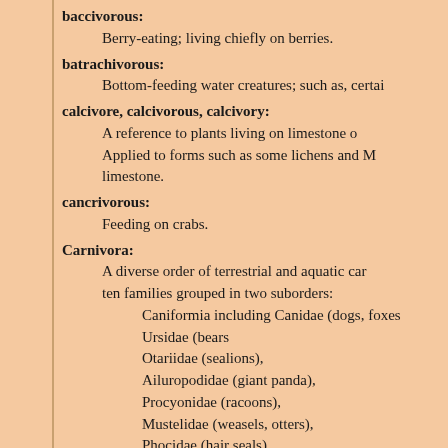baccivorous: Berry-eating; living chiefly on berries.
batrachivorous: Bottom-feeding water creatures; such as, certai
calcivore, calcivorous, calcivory: A reference to plants living on limestone o Applied to forms such as some lichens and M limestone.
cancrivorous: Feeding on crabs.
Carnivora: A diverse order of terrestrial and aquatic car ten families grouped in two suborders: Caniformia including Canidae (dogs, foxes Ursidae (bears Otariidae (sealions), Ailuropodidae (giant panda), Procyonidae (racoons), Mustelidae (weasels, otters), Phocidae (hair seals), Feliformia including Felidae (cats), Viverridae (civets),